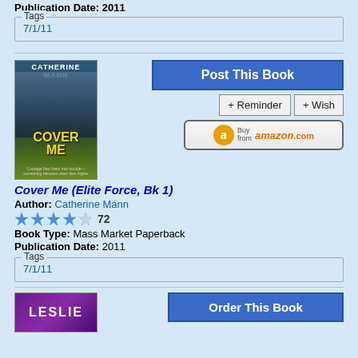Publication Date: 2011
Tags
7/1/11
[Figure (photo): Book cover of Cover Me by Catherine Mann — dark blue cover with romantic couple and helicopter]
Post This Book
+ Reminder  + Wish
Buy from amazon.com
Cover Me (Elite Force, Bk 1)
Author: Catherine Mann
72
Book Type: Mass Market Paperback
Publication Date: 2011
Tags
7/1/11
[Figure (photo): Book cover (purple, partial) with text LESLIE]
Order This Book